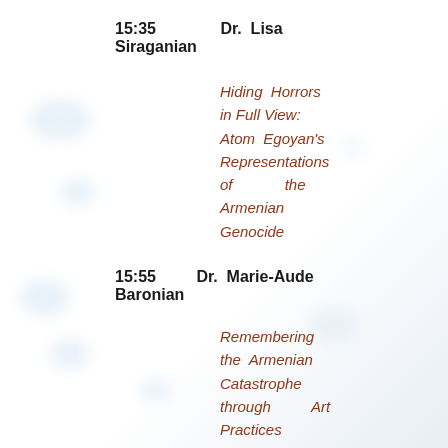15:35   Dr. Lisa Siraganian
Hiding Horrors in Full View: Atom Egoyan's Representations of the Armenian Genocide
15:55   Dr. Marie-Aude Baronian
Remembering the Armenian Catastrophe through Art Practices